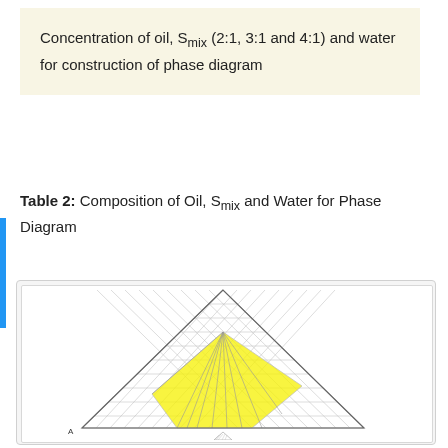Concentration of oil, Smix (2:1, 3:1 and 4:1) and water for construction of phase diagram
Table 2: Composition of Oil, Smix and Water for Phase Diagram
[Figure (other): Ternary phase diagram (triangular diagram) showing a yellow highlighted region representing the microemulsion zone, with a small triangle legend below. Labeled point A on the left.]